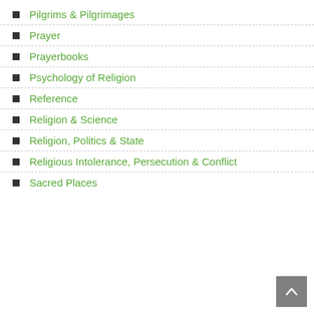Pilgrims & Pilgrimages
Prayer
Prayerbooks
Psychology of Religion
Reference
Religion & Science
Religion, Politics & State
Religious Intolerance, Persecution & Conflict
Sacred Places